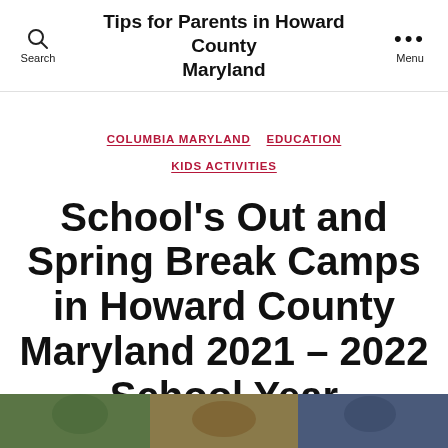Tips for Parents in Howard County Maryland
COLUMBIA MARYLAND   EDUCATION   KIDS ACTIVITIES
School's Out and Spring Break Camps in Howard County Maryland 2021 – 2022 School Year
By EronCohen   July 16, 2017
[Figure (photo): Partial photo visible at bottom of page, showing children outdoors]